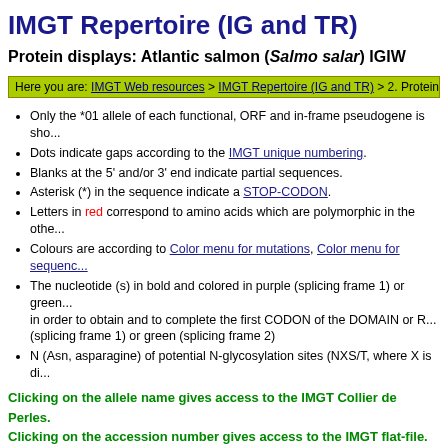IMGT Repertoire (IG and TR)
Protein displays: Atlantic salmon (Salmo salar) IGIVH
Here you are: IMGT Web resources > IMGT Repertoire (IG and TR) > 2. Proteins a
Only the *01 allele of each functional, ORF and in-frame pseudogene is sho...
Dots indicate gaps according to the IMGT unique numbering.
Blanks at the 5' and/or 3' end indicate partial sequences.
Asterisk (*) in the sequence indicate a STOP-CODON.
Letters in red correspond to amino acids which are polymorphic in the othe...
Colours are according to Color menu for mutations, Color menu for sequenc...
The nucleotide (s) in bold and colored in purple (splicing frame 1) or green... in order to obtain and to complete the first CODON of the DOMAIN or R... (splicing frame 1) or green (splicing frame 2)
N (Asn, asparagine) of potential N-glycosylation sites (NXS/T, where X is di...
Clicking on the allele name gives access to the IMGT Collier de Perles.
Clicking on the accession number gives access to the IMGT flat-file.